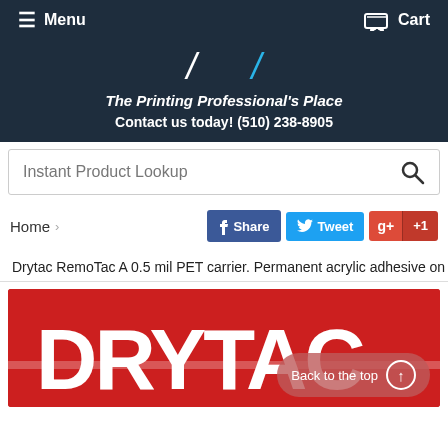Menu   Cart
The Printing Professional's Place
Contact us today! (510) 238-8905
Instant Product Lookup
Home >   Share   Tweet   +1
Drytac RemoTac A 0.5 mil PET carrier. Permanent acrylic adhesive on the ex
[Figure (logo): Drytac logo — white text on red background with horizontal stripe]
Back to the top